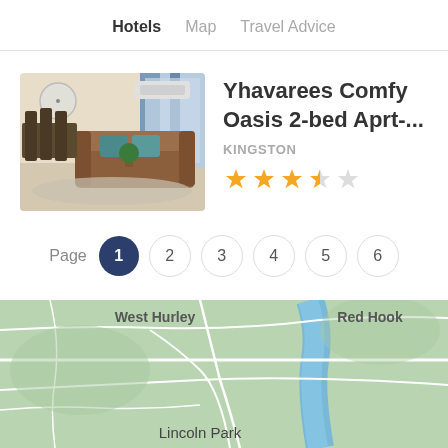Hotels  Map  Travel Advice
[Figure (photo): Interior photo of apartment: living room with brown sofa, dining chairs, wall-mounted AC unit, curtains]
Yhavarees Comfy Oasis 2-bed Aprt-...
KINGSTON
3.5 star rating
Page  1  2  3  4  5  6
[Figure (map): Map showing West Hurley, Red Hook, Lincoln Park area with roads and water features]